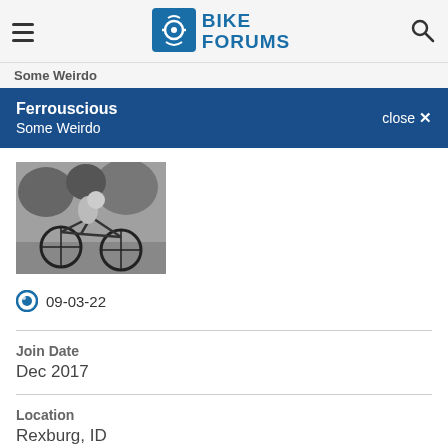BIKE FORUMS
Some Weirdo
Ferrouscious
Some Weirdo
close ✕
[Figure (photo): Black and white photo of a cyclist on a bicycle, outdoors with trees in the background]
09-03-22
Join Date
Dec 2017
Location
Rexburg, ID
Posts:
502